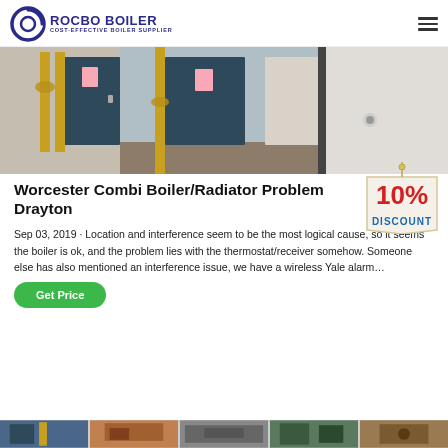ROCBO BOILER — COST-EFFECTIVE BOILER SUPPLIER
[Figure (photo): Interior boiler room with yellow pipes and dark blue metal doors]
Worcester Combi Boiler/Radiator Problem Drayton
[Figure (other): 10% DISCOUNT badge/sticker]
Sep 03, 2019 · Location and interference seem to be the most logical cause, so it seems the boiler is ok, and the problem lies with the thermostat/receiver somehow. Someone else has also mentioned an interference issue, we have a wireless Yale alarm…
Get Price
[Figure (photo): Bottom strip of thumbnail images partially visible]